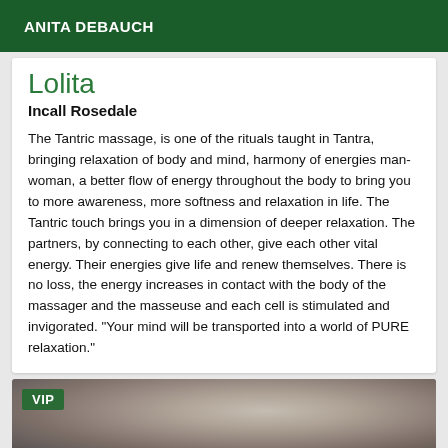ANITA DEBAUCH
Lolita
Incall Rosedale
The Tantric massage, is one of the rituals taught in Tantra, bringing relaxation of body and mind, harmony of energies man-woman, a better flow of energy throughout the body to bring you to more awareness, more softness and relaxation in life. The Tantric touch brings you in a dimension of deeper relaxation. The partners, by connecting to each other, give each other vital energy. Their energies give life and renew themselves. There is no loss, the energy increases in contact with the body of the massager and the masseuse and each cell is stimulated and invigorated. "Your mind will be transported into a world of PURE relaxation."
[Figure (photo): VIP photo card showing partial face/profile, dark tones, with green VIP badge in top-left corner]